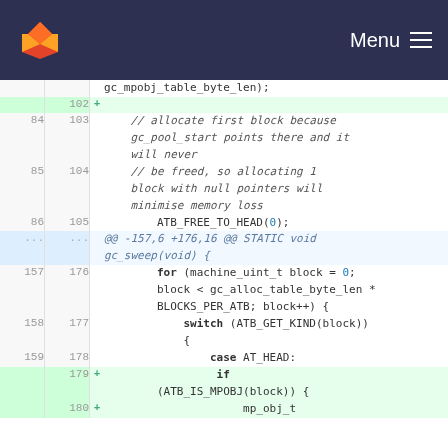Menu
gc_mpobj_table_byte_len);
102 +
84 103     // allocate first block because gc_pool_start points there and it will never
85 104     // be freed, so allocating 1 block with null pointers will minimise memory loss
86 105         ATB_FREE_TO_HEAD(0);
... ...    @@ -157,6 +176,16 @@ STATIC void gc_sweep(void) {
157 176         for (machine_uint_t block = 0; block < gc_alloc_table_byte_len * BLOCKS_PER_ATB; block++) {
158 177             switch (ATB_GET_KIND(block)) {
159 178                 case AT_HEAD:
   179 +                 if (ATB_IS_MPOBJ(block)) {
   180 +                     mp_obj_t